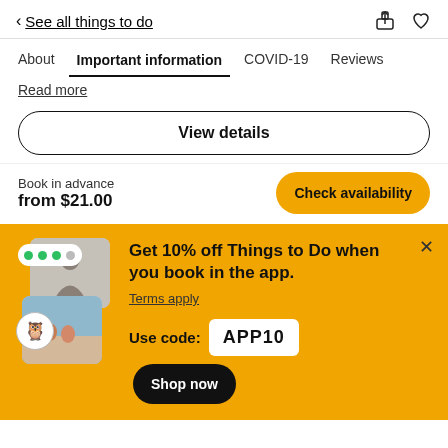< See all things to do
About  Important information  COVID-19  Reviews
Read more
View details
Book in advance
from $21.00
Check availability
Get 10% off Things to Do when you book in the app.
Terms apply
Use code: APP10
Shop now